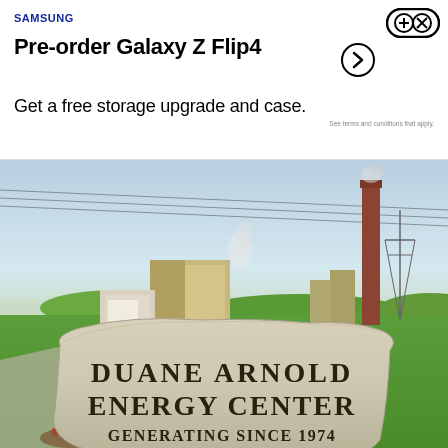SAMSUNG
Pre-order Galaxy Z Flip4
Get a free storage upgrade and case.
See terms and conditions that apply.
[Figure (photo): Photograph of the Duane Arnold Energy Center nuclear power plant. In the foreground is a large stone monument sign reading 'DUANE ARNOLD ENERGY CENTER GENERATING SINCE 1974'. Behind it is a green field with the plant buildings including a reactor building and a tall brick smokestack. Power transmission lines visible. Blue hazy sky in background.]